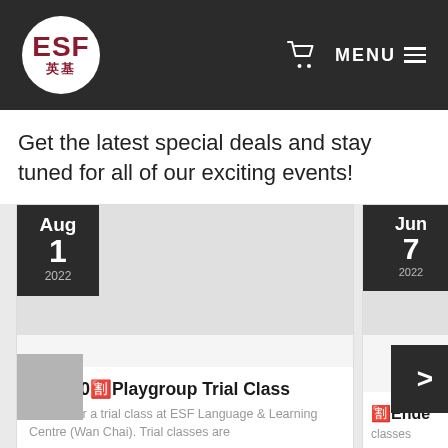[Figure (logo): ESF 英基 logo in a white circle on dark header bar, with shopping cart icon and MENU text on the right]
Get the latest special deals and stay tuned for all of our exciting events!
[Figure (screenshot): Event card: Aug 1 2022 date badge, gray image placeholder, title '🈹$300🈹Playgroup Trial Class', description 'Join us for a trial class at ESF Language & Learning Centre (Wan Chai). Trial classes are']
[Figure (screenshot): Partially visible second event card: Jun 7 2022 date badge, gray image area, next arrow button, partial title 'Ended classes']